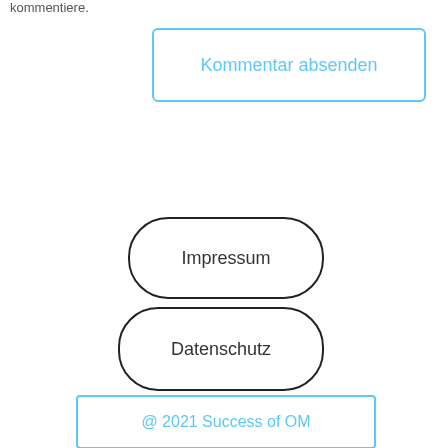kommentiere.
Kommentar absenden
Impressum
Datenschutz
@ 2021 Success of OM